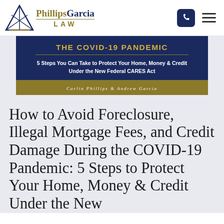[Figure (logo): PhillipsGarcia LAW logo with triangle/star icon]
[Figure (illustration): Book cover banner: THE COVID-19 PANDEMIC - 5 Steps You Can Take to Protect Your Home, Money & Credit Under the New Federal CARES Act by Carlin Phillips & Andrew Garcia]
How to Avoid Foreclosure, Illegal Mortgage Fees, and Credit Damage During the COVID-19 Pandemic: 5 Steps to Protect Your Home, Money & Credit Under the New